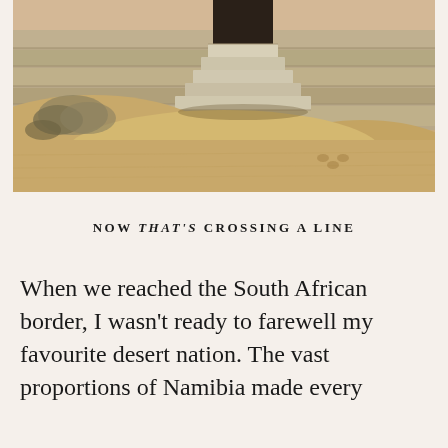[Figure (photo): A desert scene showing stone steps partially buried in sand, with a stone wall in the background. The setting appears to be an abandoned or weathered structure in a sandy desert environment, with sparse desert vegetation visible on the left side.]
NOW THAT'S CROSSING A LINE
When we reached the South African border, I wasn't ready to farewell my favourite desert nation. The vast proportions of Namibia made every